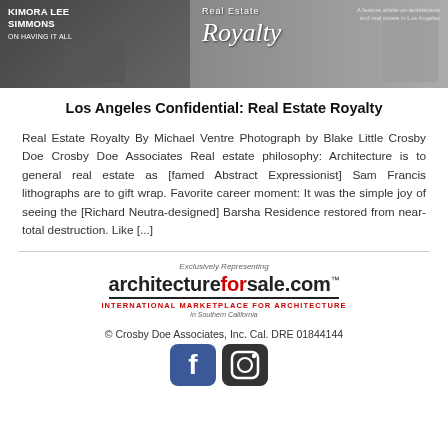[Figure (photo): Magazine spread photo strip showing Kimora Lee Simmons on left side and 'Real Estate Royalty' magazine article title on right side]
Los Angeles Confidential: Real Estate Royalty
Real Estate Royalty By Michael Ventre Photograph by Blake Little Crosby Doe Crosby Doe Associates Real estate philosophy: Architecture is to general real estate as [famed Abstract Expressionist] Sam Francis lithographs are to gift wrap. Favorite career moment: It was the simple joy of seeing the [Richard Neutra-designed] Barsha Residence restored from near-total destruction. Like [...]
[Figure (logo): architectureforsale.com logo with tagline 'International Marketplace For Architecture in Southern California']
© Crosby Doe Associates, Inc. Cal. DRE 01844144
[Figure (illustration): Facebook and Instagram social media icons]